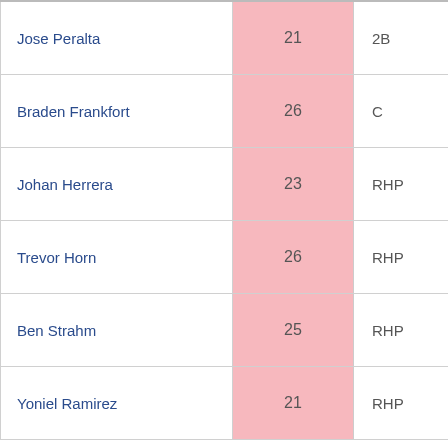| Name | Age | Position | Team |
| --- | --- | --- | --- |
| Jose Peralta | 21 | 2B | Arizona (Rook |
| Braden Frankfort | 26 | C | Arizona (Rook |
| Johan Herrera | 23 | RHP | Arizona (Rook |
| Trevor Horn | 26 | RHP | Arizona (Rook |
| Ben Strahm | 25 | RHP | Arizona (Rook |
| Yoniel Ramirez | 21 | RHP | Arizona (Rook |